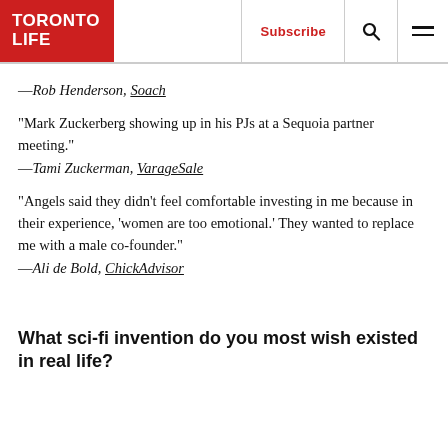TORONTO LIFE | Subscribe
—Rob Henderson, Soach
“Mark Zuckerberg showing up in his PJs at a Sequoia partner meeting.”
—Tami Zuckerman, VarageSale
“Angels said they didn’t feel comfortable investing in me because in their experience, ‘women are too emotional.’ They wanted to replace me with a male co-founder.”
—Ali de Bold, ChickAdvisor
What sci-fi invention do you most wish existed in real life?